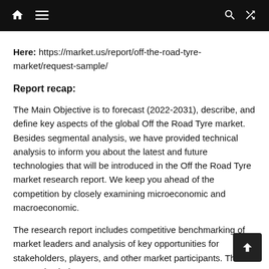[navigation bar with home, menu, search, shuffle icons]
Here: https://market.us/report/off-the-road-tyre-market/request-sample/
Report recap:
The Main Objective is to forecast (2022-2031), describe, and define key aspects of the global Off the Road Tyre market. Besides segmental analysis, we have provided technical analysis to inform you about the latest and future technologies that will be introduced in the Off the Road Tyre market research report. We keep you ahead of the competition by closely examining microeconomic and macroeconomic.
The research report includes competitive benchmarking of market leaders and analysis of key opportunities for stakeholders, players, and other market participants. This report also helps you To